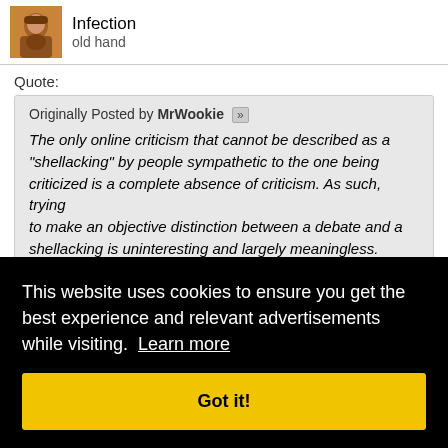Infection
old hand
Quote:
Originally Posted by MrWookie
The only online criticism that cannot be described as a "shellacking" by people sympathetic to the one being criticized is a complete absence of criticism. As such, trying to make an objective distinction between a debate and a shellacking is uninteresting and largely meaningless.
This is just complete nonsense. There are obviously differences... [partially obscured by cookie overlay]
This website uses cookies to ensure you get the best experience and relevant advertisements while visiting. Learn more
Got it!